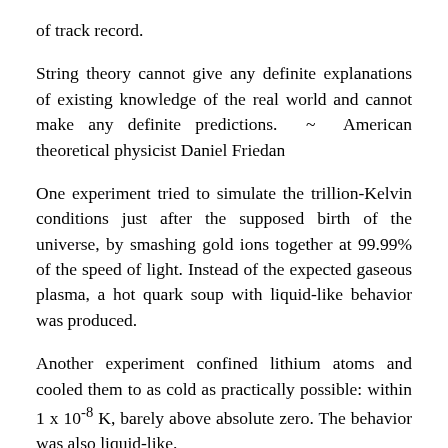of track record.
String theory cannot give any definite explanations of existing knowledge of the real world and cannot make any definite predictions. ~ American theoretical physicist Daniel Friedan
One experiment tried to simulate the trillion-Kelvin conditions just after the supposed birth of the universe, by smashing gold ions together at 99.99% of the speed of light. Instead of the expected gaseous plasma, a hot quark soup with liquid-like behavior was produced.
Another experiment confined lithium atoms and cooled them to as cold as practically possible: within 1 x 10^-8 K, barely above absolute zero. The behavior was also liquid-like.
Both these liquids at opposite extremes exhibited collective behavior: flowing with the lowest possible